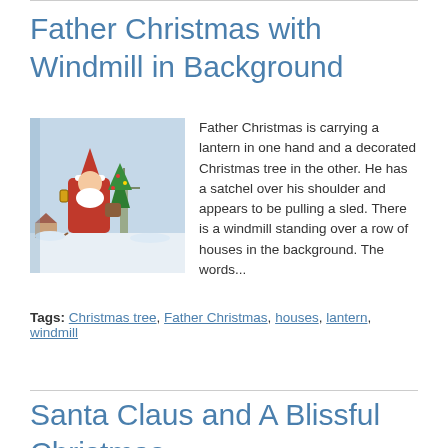Father Christmas with Windmill in Background
[Figure (illustration): Vintage illustration of Father Christmas in a red robe carrying a lantern in one hand and a decorated Christmas tree in the other, with a satchel over his shoulder, in a snowy winter scene with houses and a windmill in the background.]
Father Christmas is carrying a lantern in one hand and a decorated Christmas tree in the other. He has a satchel over his shoulder and appears to be pulling a sled. There is a windmill standing over a row of houses in the background. The words...
Tags: Christmas tree, Father Christmas, houses, lantern, windmill
Santa Claus and A Blissful Christmas